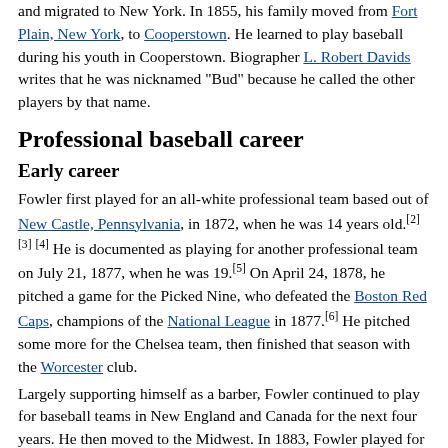and migrated to New York. In 1855, his family moved from Fort Plain, New York, to Cooperstown. He learned to play baseball during his youth in Cooperstown. Biographer L. Robert Davids writes that he was nicknamed "Bud" because he called the other players by that name.
Professional baseball career
Early career
Fowler first played for an all-white professional team based out of New Castle, Pennsylvania, in 1872, when he was 14 years old.[2][3][4] He is documented as playing for another professional team on July 21, 1877, when he was 19.[5] On April 24, 1878, he pitched a game for the Picked Nine, who defeated the Boston Red Caps, champions of the National League in 1877.[6] He pitched some more for the Chelsea team, then finished that season with the Worcester club.
Largely supporting himself as a barber, Fowler continued to play for baseball teams in New England and Canada for the next four years. He then moved to the Midwest. In 1883, Fowler played for a team in Niles, Ohio; in 1884, he played for Stillwater, Minnesota, in the Northwestern League.